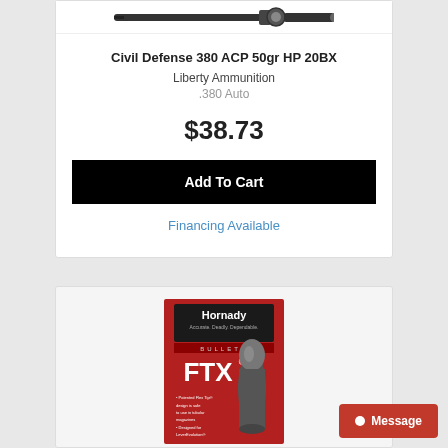[Figure (photo): Product image of Civil Defense 380 ACP ammunition / gun on white background]
Civil Defense 380 ACP 50gr HP 20BX
Liberty Ammunition
.380 Auto
$38.73
Add To Cart
Financing Available
[Figure (photo): Hornady FTX Bullets product box illustration with bullet image, red packaging with Hornady logo and FTX branding]
Message